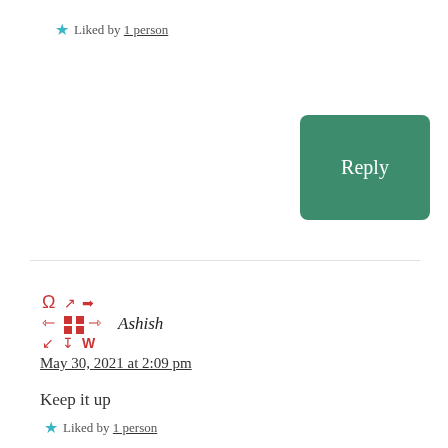★ Liked by 1 person
Reply
Ashish
May 30, 2021 at 2:09 pm
Keep it up
★ Liked by 1 person
Reply